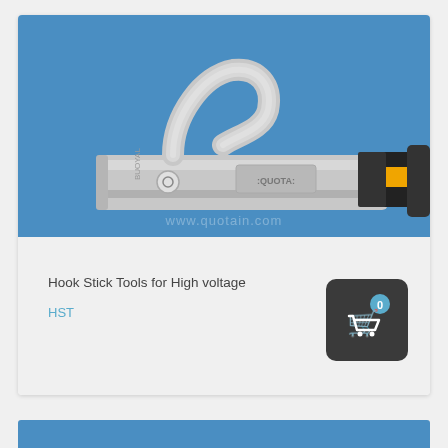[Figure (photo): Close-up photo of a Hook Stick Tool for High voltage against a blue background. The tool shows a silver metal hook at the top, with a metal body stamped 'QUOTA', and a yellow-and-black fiberglass handle visible on the right side.]
Hook Stick Tools for High voltage
HST